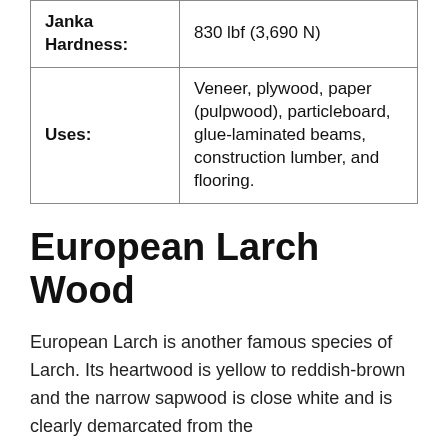| Janka Hardness: | 830 lbf (3,690 N) |
| Uses: | Veneer, plywood, paper (pulpwood), particleboard, glue-laminated beams, construction lumber, and flooring. |
European Larch Wood
European Larch is another famous species of Larch. Its heartwood is yellow to reddish-brown and the narrow sapwood is close white and is clearly demarcated from the